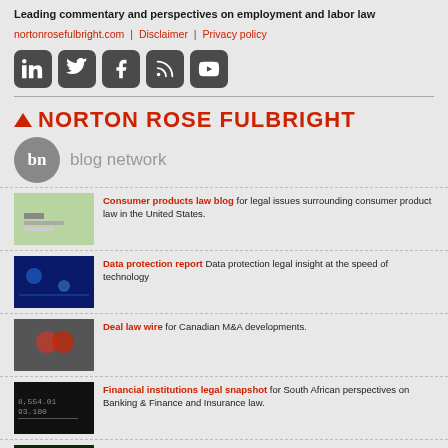Leading commentary and perspectives on employment and labor law
nortonrosefulbright.com | Disclaimer | Privacy policy
[Figure (infographic): Social media icons: LinkedIn, Twitter, Facebook, RSS, YouTube]
[Figure (logo): Norton Rose Fulbright logo with red chevron/arrow and blog network circle badge]
Consumer products law blog for legal issues surrounding consumer product law in the United States.
Data protection report Data protection legal insight at the speed of technology
Deal law wire for Canadian M&A developments.
Financial institutions legal snapshot for South African perspectives on Banking & Finance and Insurance law.
Financial services: Regulation tomorrow for international financial services regulatory developments.